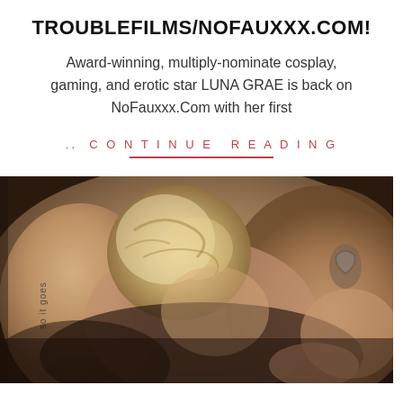TROUBLEFILMS/NOFAUXXX.COM!
Award-winning, multiply-nominate cosplay, gaming, and erotic star LUNA GRAE is back on NoFauxxx.Com with her first
.. CONTINUE READING
[Figure (photo): A photograph showing two people in an intimate scene]